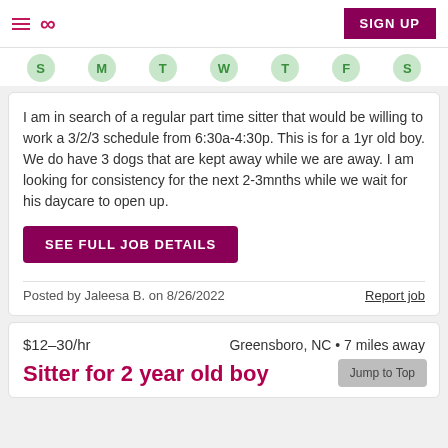Care.com navigation header with hamburger menu, infinity logo, and SIGN UP button
[Figure (infographic): Days of week row: S, M, T, W, T, F, S shown as green circles]
I am in search of a regular part time sitter that would be willing to work a 3/2/3 schedule from 6:30a-4:30p. This is for a 1yr old boy. We do have 3 dogs that are kept away while we are away. I am looking for consistency for the next 2-3mnths while we wait for his daycare to open up.
SEE FULL JOB DETAILS
Posted by Jaleesa B. on 8/26/2022
Report job
$12–30/hr
Greensboro, NC • 7 miles away
Sitter for 2 year old boy